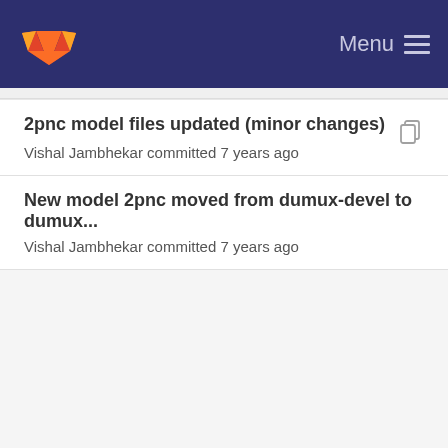Menu
2pnc model files updated (minor changes)
Vishal Jambhekar committed 7 years ago
New model 2pnc moved from dumux-devel to dumux...
Vishal Jambhekar committed 7 years ago